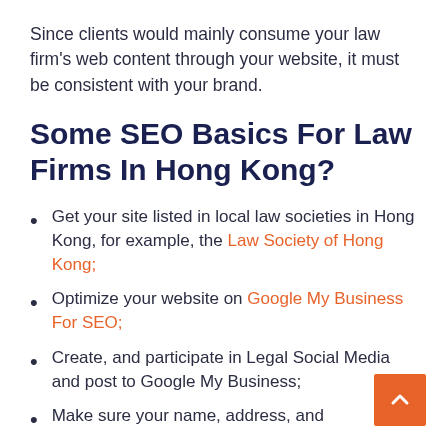Since clients would mainly consume your law firm's web content through your website, it must be consistent with your brand.
Some SEO Basics For Law Firms In Hong Kong?
Get your site listed in local law societies in Hong Kong, for example, the Law Society of Hong Kong;
Optimize your website on Google My Business For SEO;
Create, and participate in Legal Social Media and post to Google My Business;
Make sure your name, address, and